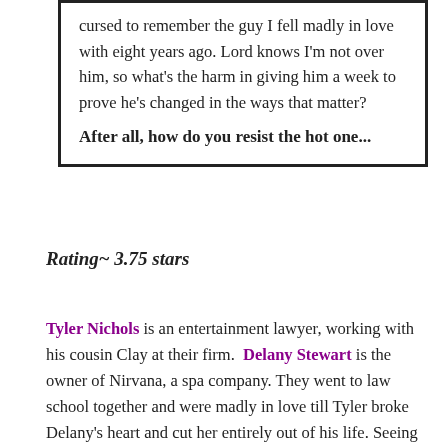cursed to remember the guy I fell madly in love with eight years ago. Lord knows I'm not over him, so what's the harm in giving him a week to prove he's changed in the ways that matter?
After all, how do you resist the hot one...
Rating~ 3.75 stars
Tyler Nichols is an entertainment lawyer, working with his cousin Clay at their firm. Delany Stewart is the owner of Nirvana, a spa company. They went to law school together and were madly in love till Tyler broke Delany's heart and cut her entirely out of his life. Seeing him juggling for a seven year old after eight years since they broke up, a girl who looks just